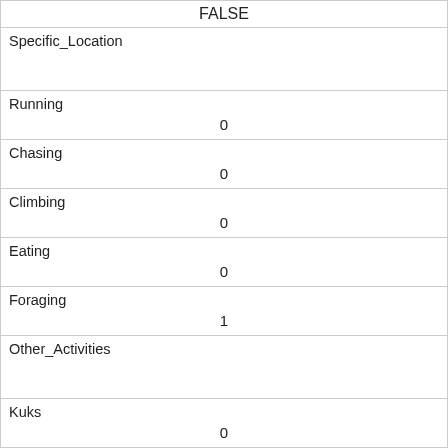| FALSE |
| Specific_Location |  |
| Running | 0 |
| Chasing | 0 |
| Climbing | 0 |
| Eating | 0 |
| Foraging | 1 |
| Other_Activities |  |
| Kuks | 0 |
| Quaas | 0 |
| Moans | 0 |